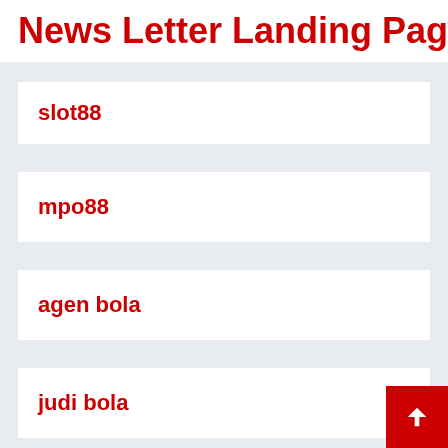News Letter Landing Page
slot88
mpo88
agen bola
judi bola